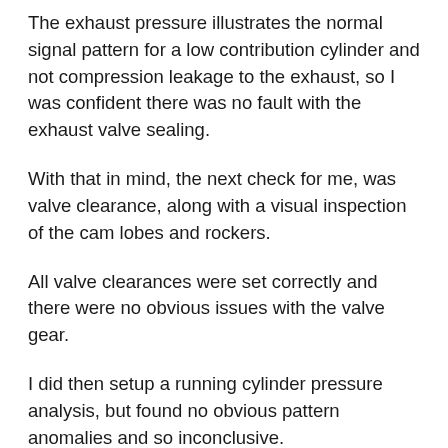The exhaust pressure illustrates the normal signal pattern for a low contribution cylinder and not compression leakage to the exhaust, so I was confident there was no fault with the exhaust valve sealing.
With that in mind, the next check for me, was valve clearance, along with a visual inspection of the cam lobes and rockers.
All valve clearances were set correctly and there were no obvious issues with the valve gear.
I did then setup a running cylinder pressure analysis, but found no obvious pattern anomalies and so inconclusive.